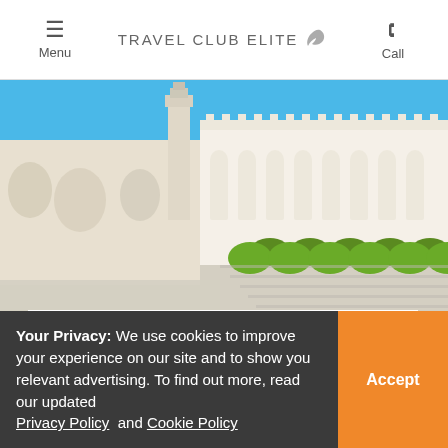Menu | TRAVEL CLUB ELITE | Call
[Figure (photo): Exterior view of a grand white Islamic mosque with arched colonnades, a minaret tower, and manicured green hedges under a bright blue sky — Sultan Qaboos Grand Mosque, Oman]
COX AND KINGS OMAN DISCOVERY
Discover the cultural and scenic highlights of Oman on this
Your Privacy: We use cookies to improve your experience on our site and to show you relevant advertising. To find out more, read our updated Privacy Policy and Cookie Policy
Accept